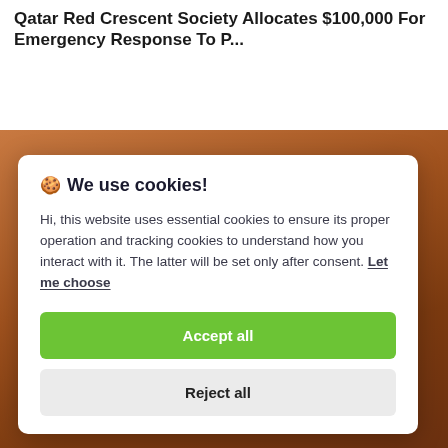Qatar Red Crescent Society Allocates $100,000 For Emergency Response To P...
[Figure (photo): Wood/brown texture background image partially visible behind the cookie consent overlay]
🍪 We use cookies!
Hi, this website uses essential cookies to ensure its proper operation and tracking cookies to understand how you interact with it. The latter will be set only after consent. Let me choose
Accept all
Reject all